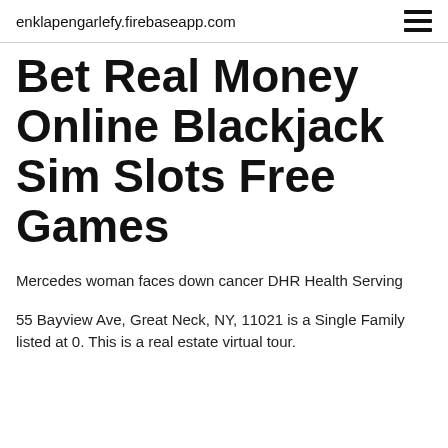enklapengarlefy.firebaseapp.com
Bet Real Money Online Blackjack Sim Slots Free Games
Mercedes woman faces down cancer DHR Health Serving
55 Bayview Ave, Great Neck, NY, 11021 is a Single Family listed at 0. This is a real estate virtual tour.